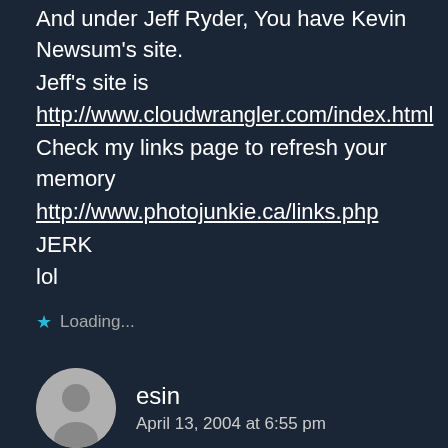And under Jeff Ryder, You have Kevin Newsum's site.
Jeff's site is
http://www.cloudwrangler.com/index.html
Check my links page to refresh your memory
http://www.photojunkie.ca/links.php
JERK
lol
Loading...
esin
April 13, 2004 at 6:55 pm